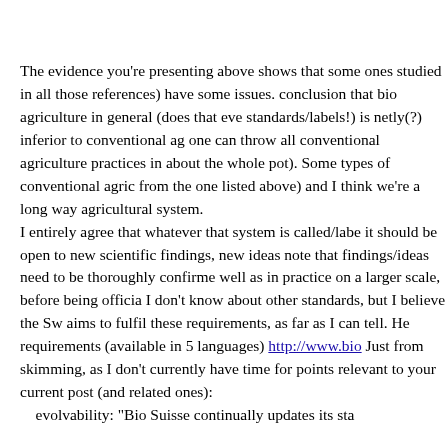The evidence you're presenting above shows that some ones studied in all those references) have some issues. conclusion that bio agriculture in general (does that eve standards/labels!) is netly(?) inferior to conventional ag one can throw all conventional agriculture practices in about the whole pot). Some types of conventional agric from the one listed above) and I think we're a long way agricultural system. I entirely agree that whatever that system is called/labe it should be open to new scientific findings, new ideas note that findings/ideas need to be thoroughly confirme well as in practice on a larger scale, before being officia I don't know about other standards, but I believe the Sw aims to fulfil these requirements, as far as I can tell. He requirements (available in 5 languages) http://www.bio Just from skimming, as I don't currently have time for points relevant to your current post (and related ones): evolvability: "Bio Suisse continually updates its sta